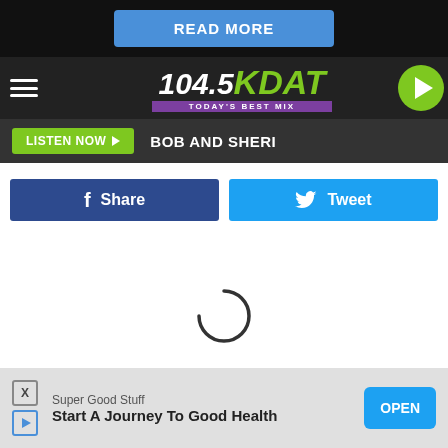[Figure (screenshot): Blue READ MORE button on dark background]
104.5 KDAT TODAY'S BEST MIX
LISTEN NOW  BOB AND SHERI
[Figure (screenshot): Facebook Share button and Twitter Tweet button]
[Figure (other): Loading spinner (arc) in white content area]
[Figure (screenshot): Bottom advertisement: Super Good Stuff - Start A Journey To Good Health - OPEN button]